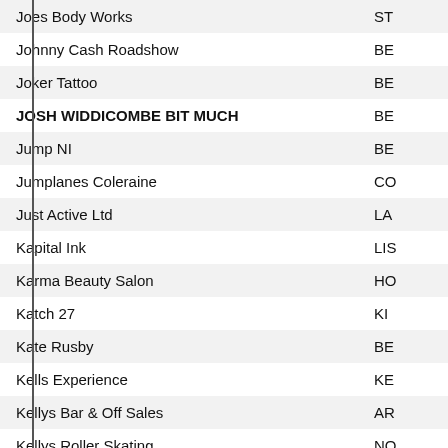| Name | Code |
| --- | --- |
| Joes Body Works | ST |
| Johnny Cash Roadshow | BE |
| Joker Tattoo | BE |
| JOSH WIDDICOMBE BIT MUCH | BE |
| Jump NI | BE |
| Jumplanes Coleraine | CO |
| Just Active Ltd | LA |
| Kapital Ink | LIS |
| Karma Beauty Salon | HO |
| Katch 27 | KI |
| Kate Rusby | BE |
| Kells Experience | KE |
| Kellys Bar & Off Sales | AR |
| Kellys Roller Skating | NO |
| Kent Amusements | NE |
| Kernan Aviation | TA |
| Keswick @ Portstewart 2019 | PO |
| Kevin Bridges - The Brand New Tour - Dublin | DU |